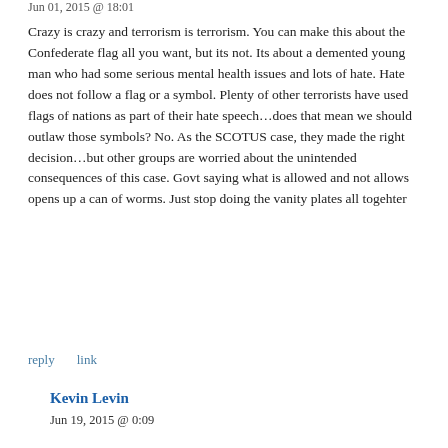Jun 01, 2015 @ 18:01
Crazy is crazy and terrorism is terrorism. You can make this about the Confederate flag all you want, but its not. Its about a demented young man who had some serious mental health issues and lots of hate. Hate does not follow a flag or a symbol. Plenty of other terrorists have used flags of nations as part of their hate speech…does that mean we should outlaw those symbols? No. As the SCOTUS case, they made the right decision…but other groups are worried about the unintended consequences of this case. Govt saying what is allowed and not allows opens up a can of worms. Just stop doing the vanity plates all togehter
reply   link
Kevin Levin
Jun 19, 2015 @ 0:09